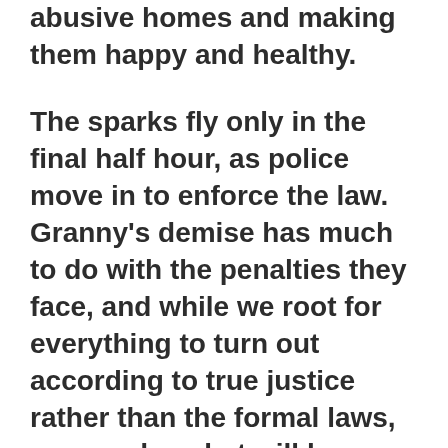abusive homes and making them happy and healthy.
The sparks fly only in the final half hour, as police move in to enforce the law.  Granny's demise has much to do with the penalties they face, and while we root for everything to turn out according to true justice rather than the formal laws, we wonder what will happen to Shota, who obviously would like to stay forever with these quirky people, and to Yuri, who has been treated with kindness for the first time in her life.
The acting is naturalistic, standouts being Lily Franky as the putative head of the family and...